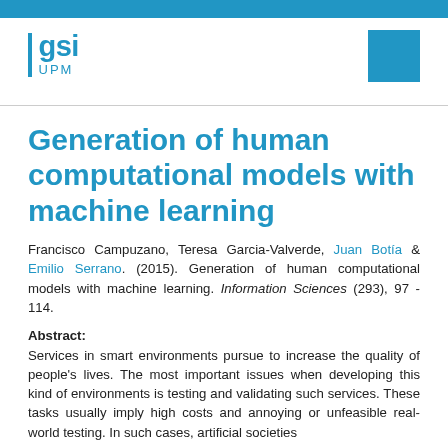[Figure (logo): GSI UPM logo with blue vertical bar, blue square in top right corner, and blue header bar at top]
Generation of human computational models with machine learning
Francisco Campuzano, Teresa Garcia-Valverde, Juan Botía & Emilio Serrano. (2015). Generation of human computational models with machine learning. Information Sciences (293), 97 - 114.
Abstract: Services in smart environments pursue to increase the quality of people's lives. The most important issues when developing this kind of environments is testing and validating such services. These tasks usually imply high costs and annoying or unfeasible real-world testing. In such cases, artificial societies